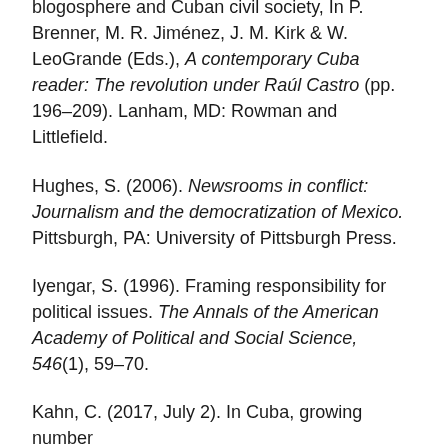blogosphere and Cuban civil society, In P. Brenner, M. R. Jiménez, J. M. Kirk & W. LeoGrande (Eds.), A contemporary Cuba reader: The revolution under Raúl Castro (pp. 196–209). Lanham, MD: Rowman and Littlefield.
Hughes, S. (2006). Newsrooms in conflict: Journalism and the democratization of Mexico. Pittsburgh, PA: University of Pittsburgh Press.
Iyengar, S. (1996). Framing responsibility for political issues. The Annals of the American Academy of Political and Social Science, 546(1), 59–70.
Kahn, C. (2017, July 2). In Cuba, growing number